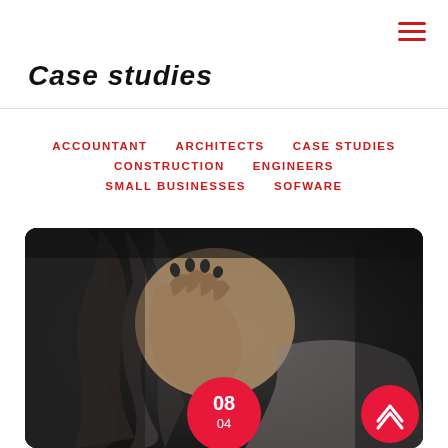Case Studies
ACCOUNTANT
ARCHITECTS
CASE STUDIES
CONSTRUCTION
ENGINEERS
SMALL BUSINESSES
SOFWARE
[Figure (photo): Black and white photo of a woman covering her face with her hands, hair pulled back, emotional/distressed pose. Red circle badge showing '08' with '04' below it, and a red arrow-up circle button in the bottom right corner.]